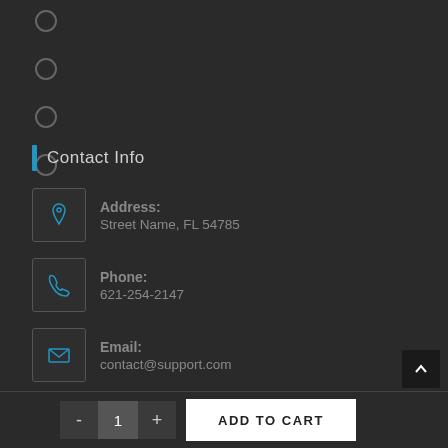○
○
○
○
Contact Info
Address: Street Name, FL 54785
Phone: 621-254-2147
Email: contact@support.com
Website: yourwebsite.com
- 1 + ADD TO CART